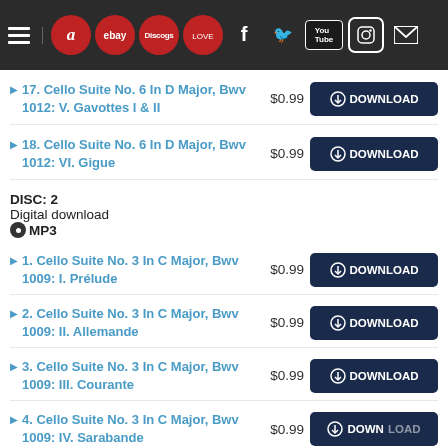Navigation bar with hamburger menu, Amazon, eBay, Discogs, Last.fm, Facebook, Twitter, YouTube, Instagram, Mail icons
17. Cello Suite No. 6 In D Major, Bwv 1012: V. Gavottes I & II — $0.99 — DOWNLOAD
18. Cello Suite No. 6 In D Major, Bwv 1012: VI. Gigue — $0.99 — DOWNLOAD
DISC: 2
Digital download
MP3
1. Cello Suite No. 3 In C Major, Bwv 1009: I. Prélude — $0.99 — DOWNLOAD
2. Cello Suite No. 3 In C Major, Bwv 1009: II. Allemande — $0.99 — DOWNLOAD
3. Cello Suite No. 3 In C Major, Bwv 1009: III. Courante — $0.99 — DOWNLOAD
4. Cello Suite No. 3 In C Major, Bwv 1009: IV. Sarabande — $0.99 — DOWNLOAD